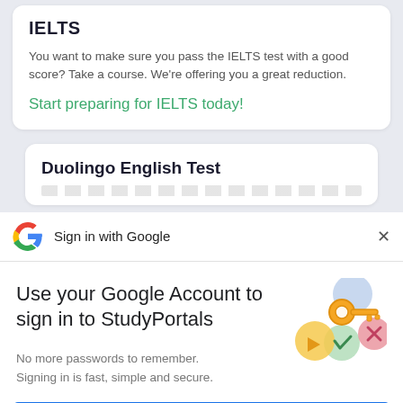IELTS
You want to make sure you pass the IELTS test with a good score? Take a course. We're offering you a great reduction.
Start preparing for IELTS today!
Duolingo English Test
Sign in with Google
Use your Google Account to sign in to StudyPortals
No more passwords to remember. Signing in is fast, simple and secure.
[Figure (illustration): Google sign-in illustration showing a golden key and colorful circles/shapes]
Continue